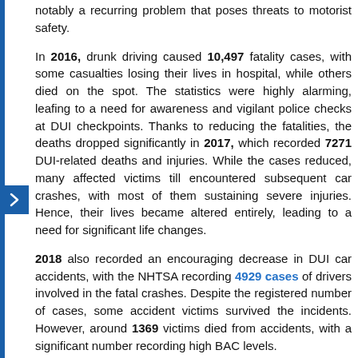notably a recurring problem that poses threats to motorist safety.
In 2016, drunk driving caused 10,497 fatality cases, with some casualties losing their lives in hospital, while others died on the spot. The statistics were highly alarming, leafing to a need for awareness and vigilant police checks at DUI checkpoints. Thanks to reducing the fatalities, the deaths dropped significantly in 2017, which recorded 7271 DUI-related deaths and injuries. While the cases reduced, many affected victims till encountered subsequent car crashes, with most of them sustaining severe injuries. Hence, their lives became altered entirely, leading to a need for significant life changes.
2018 also recorded an encouraging decrease in DUI car accidents, with the NHTSA recording 4929 cases of drivers involved in the fatal crashes. Despite the registered number of cases, some accident victims survived the incidents. However, around 1369 victims died from accidents, with a significant number recording high BAC levels.
Among the 4929 motorists involved in car accidents, 1069